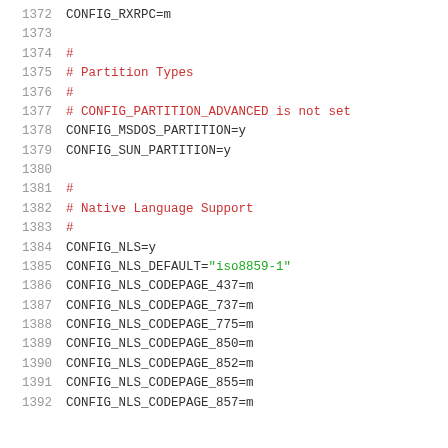1372  CONFIG_RXRPC=m
1373
1374  #
1375  # Partition Types
1376  #
1377  # CONFIG_PARTITION_ADVANCED is not set
1378  CONFIG_MSDOS_PARTITION=y
1379  CONFIG_SUN_PARTITION=y
1380
1381  #
1382  # Native Language Support
1383  #
1384  CONFIG_NLS=y
1385  CONFIG_NLS_DEFAULT="iso8859-1"
1386  CONFIG_NLS_CODEPAGE_437=m
1387  CONFIG_NLS_CODEPAGE_737=m
1388  CONFIG_NLS_CODEPAGE_775=m
1389  CONFIG_NLS_CODEPAGE_850=m
1390  CONFIG_NLS_CODEPAGE_852=m
1391  CONFIG_NLS_CODEPAGE_855=m
1392  CONFIG_NLS_CODEPAGE_857=m